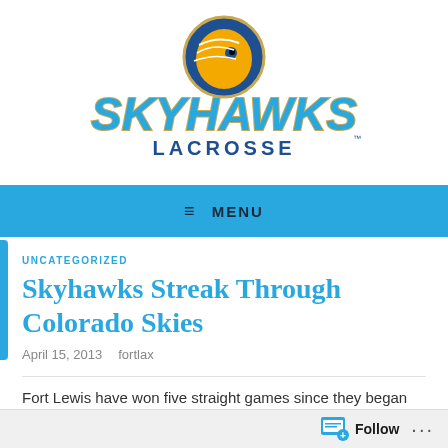[Figure (logo): Skyhawks Lacrosse logo — blue circle with golden eagle head, text SKYHAWKS in large blue letters with gold outline, LACROSSE below in blue]
≡  MENU
UNCATEGORIZED
Skyhawks Streak Through Colorado Skies
April 15, 2013   fortlax
Fort Lewis have won five straight games since they began